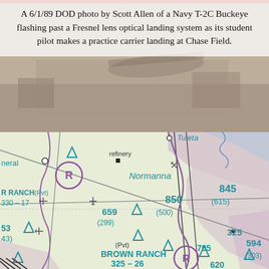[Figure (photo): Top portion: A photograph of a Navy T-2C Buckeye aircraft flying past a Fresnel lens optical landing system at Chase Field, with text caption overlaid on a semi-transparent white box at the top. Bottom portion: An aeronautical sectional chart showing the area around Normanna, Texas, with aviation waypoints, ranch airstrips (R RANCH, BROWN RANCH), elevation figures (845, 850, 659, 705, 594, 325, 330, 17, etc.), and standard VFR chart symbology.]
A 6/1/89 DOD photo by Scott Allen of a Navy T-2C Buckeye flashing past a Fresnel lens optical landing system as its student pilot makes a practice carrier landing at Chase Field.